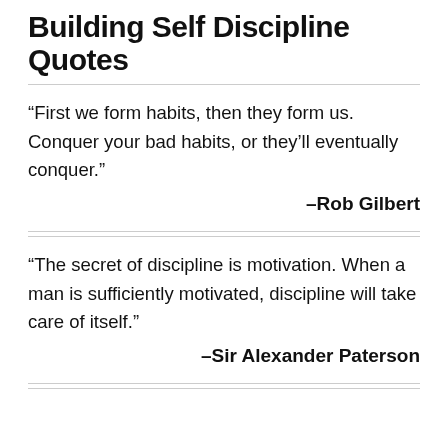Building Self Discipline Quotes
“First we form habits, then they form us. Conquer your bad habits, or they’ll eventually conquer.”
–Rob Gilbert
“The secret of discipline is motivation. When a man is sufficiently motivated, discipline will take care of itself.”
–Sir Alexander Paterson